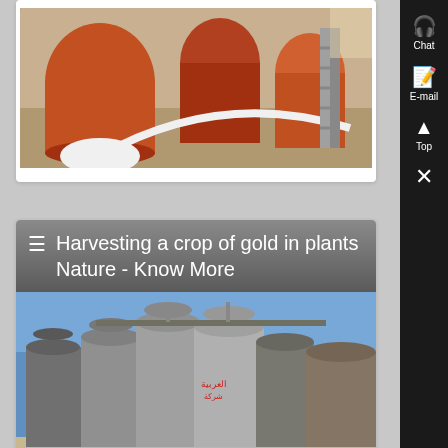[Figure (photo): Industrial interior with large orange/rust-colored tanks and equipment, white hose arching across floor, metal staircase in background]
☰ Harvesting a crop of gold in plants Nature - Know More
[Figure (photo): Row of large cylindrical metal grain silos against a blue sky, with Arabic text visible on one silo]
[Figure (other): Sidebar with Chat, E-mail, Top, and close (×) buttons on dark background]